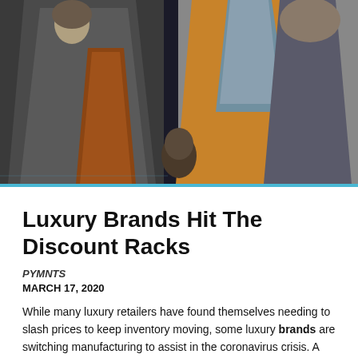[Figure (photo): Fashion display with mannequins wearing luxury coats and scarves in browns, grays and blues against a dark background]
Luxury Brands Hit The Discount Racks
PYMNTS
MARCH 17, 2020
While many luxury retailers have found themselves needing to slash prices to keep inventory moving, some luxury brands are switching manufacturing to assist in the coronavirus crisis. A bright spot is also emerging for luxury brands as China